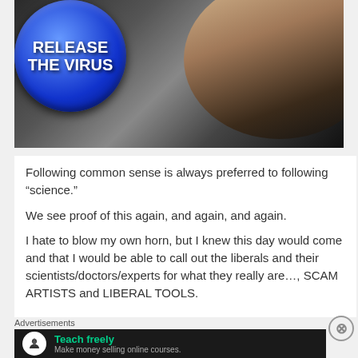[Figure (photo): Meme image of a blue button being pressed with text 'RELEASE THE VIRUS' on the button]
Following common sense is always preferred to following “science.”
We see proof of this again, and again, and again.
I hate to blow my own horn, but I knew this day would come and that I would be able to call out the liberals and their scientists/doctors/experts for what they really are…, SCAM ARTISTS and LIBERAL TOOLS.
Advertisements
[Figure (screenshot): Advertisement banner: Teach freely - Make money selling online courses.]